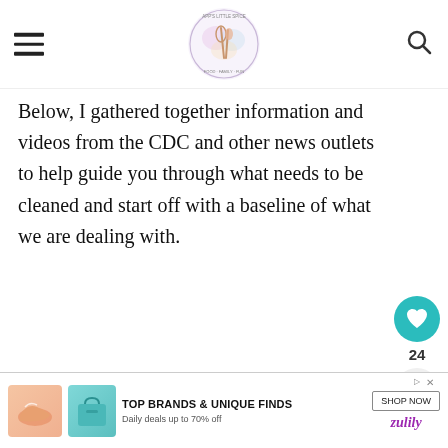App's Little Spice (logo/navigation header)
Below, I gathered together information and videos from the CDC and other news outlets to help guide you through what needs to be cleaned and start off with a baseline of what we are dealing with.
At the end of the post, I have a printable How To Card, with a list of materials (cleaning supplies and products), tools (cleaning tools,
[Figure (screenshot): Advertisement banner: TOP BRANDS & UNIQUE FINDS, Daily deals up to 70% off, Shop Now button, zulily branding]